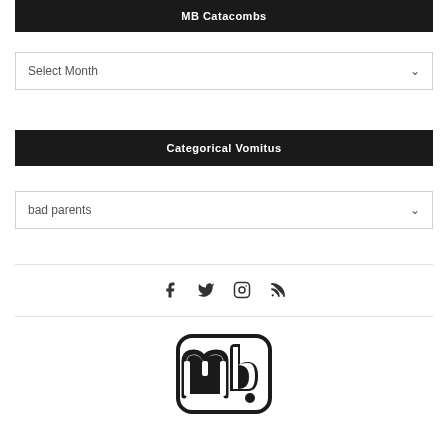MB Catacombs
Select Month
Categorical Vomitus
bad parents
[Figure (logo): Social media icons: Facebook, Twitter, Instagram, RSS feed]
[Figure (logo): mb logo - stylized lowercase letters m and b with a dot, black outline]